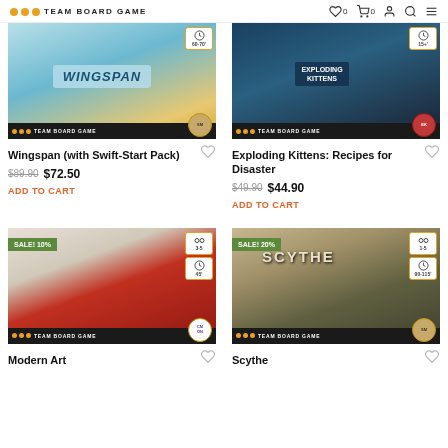TEAM BOARD GAME — icons: wishlist 0, cart 0, account, search, menu
[Figure (photo): Wingspan board game box with Swift-Start Pack, blue and teal colors, Team Board Game branding at bottom]
Wingspan (with Swift-Start Pack)
$89.90  $72.50
ADD TO CART
[Figure (photo): Exploding Kittens: Recipes for Disaster game box, dark teal/black colors with Exploding Kittens branding]
Exploding Kittens: Recipes for Disaster
$49.90  $44.90
ADD TO CART
[Figure (photo): Modern Art board game box with SALE! 10% badge, CMON publisher, red and white illustration]
Modern Art
[Figure (photo): Scythe board game box with SALE! 20% badge, Stonemaier Games publisher, dark landscape illustration with 1-5 players badge]
Scythe